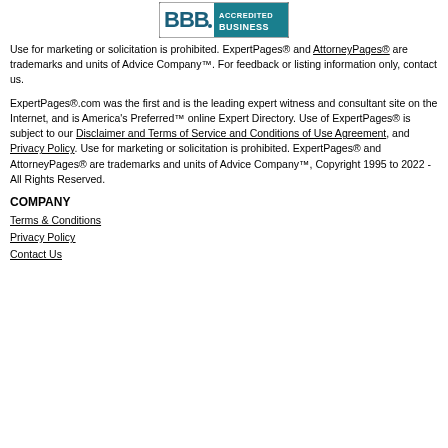[Figure (logo): BBB Accredited Business logo — blue and teal rectangular badge with 'BBB' letters and 'ACCREDITED BUSINESS' text]
Use for marketing or solicitation is prohibited. ExpertPages® and AttorneyPages® are trademarks and units of Advice Company™. For feedback or listing information only, contact us.
ExpertPages®.com was the first and is the leading expert witness and consultant site on the Internet, and is America's Preferred™ online Expert Directory. Use of ExpertPages® is subject to our Disclaimer and Terms of Service and Conditions of Use Agreement, and Privacy Policy. Use for marketing or solicitation is prohibited. ExpertPages® and AttorneyPages® are trademarks and units of Advice Company™, Copyright 1995 to 2022 - All Rights Reserved.
COMPANY
Terms & Conditions
Privacy Policy
Contact Us